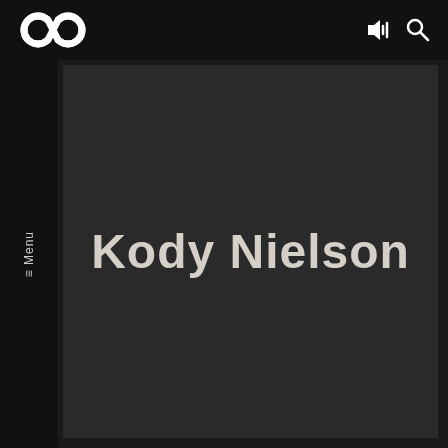[Figure (logo): Infinity symbol logo (two overlapping circles) in white on dark background, top left corner]
[Figure (other): Sound/volume icon with bars and a search/magnify icon, top right corner]
= Menu
Kody Nielson